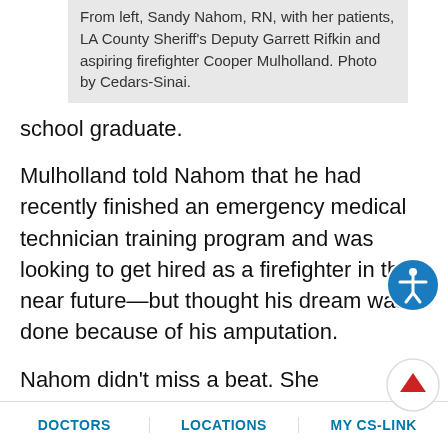From left, Sandy Nahom, RN, with her patients, LA County Sheriff's Deputy Garrett Rifkin and aspiring firefighter Cooper Mulholland. Photo by Cedars-Sinai.
school graduate.
Mulholland told Nahom that he had recently finished an emergency medical technician training program and was looking to get hired as a firefighter in the near future—but thought his dream was done because of his amputation.
Nahom didn't miss a beat. She called in a favor from a former amputee patient, Los Angeles County Sheriff Deputy Garrett Rifkin. He also had lost part of a leg, in a motorcycle accident three years ago, and was treated by Moon and Nahom.
The plan was set: Nahom would arrange a meeting in hospital between Rifkin, the sheriff's deputy, and Mulholland, the aspiring firefighter.
DOCTORS   LOCATIONS   MY CS-LINK